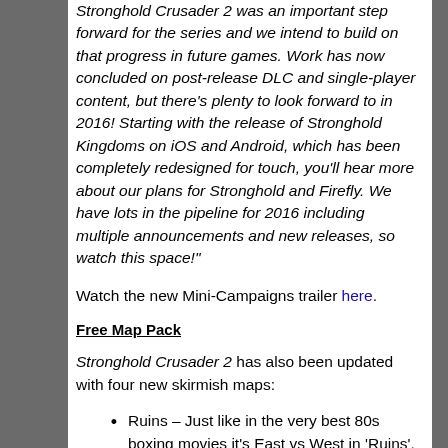Stronghold Crusader 2 was an important step forward for the series and we intend to build on that progress in future games. Work has now concluded on post-release DLC and single-player content, but there’s plenty to look forward to in 2016! Starting with the release of Stronghold Kingdoms on iOS and Android, which has been completely redesigned for touch, you’ll hear more about our plans for Stronghold and Firefly. We have lots in the pipeline for 2016 including multiple announcements and new releases, so watch this space!"
Watch the new Mini-Campaigns trailer here.
Free Map Pack
Stronghold Crusader 2 has also been updated with four new skirmish maps:
Ruins – Just like in the very best 80s boxing movies it’s East vs West in ‘Ruins’. The map’s unique setup provides up to four players with a reliable source of Stone, but leave the elevated centre uncontested and even the mightiest walls will crumble.
Mirage – All eight players must cross the great